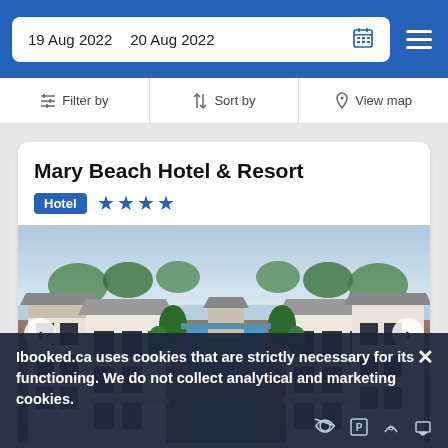19 Aug 2022  20 Aug 2022
Filter by  Sort by  View map
Mary Beach Hotel & Resort
Hotel ★★★★
[Figure (photo): Aerial/front view of Mary Beach Hotel & Resort showing white colonial-style buildings flanking a long blue swimming pool, surrounded by tropical trees, with ocean visible in the background.]
Ibooked.ca uses cookies that are strictly necessary for its functioning. We do not collect analytical and marketing cookies.